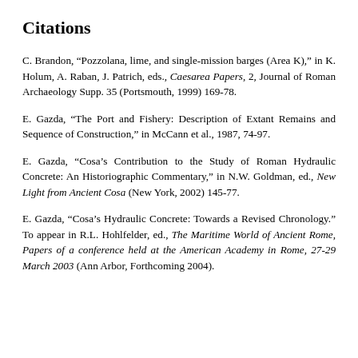Citations
C. Brandon, “Pozzolana, lime, and single-mission barges (Area K),” in K. Holum, A. Raban, J. Patrich, eds., Caesarea Papers, 2, Journal of Roman Archaeology Supp. 35 (Portsmouth, 1999) 169-78.
E. Gazda, “The Port and Fishery: Description of Extant Remains and Sequence of Construction,” in McCann et al., 1987, 74-97.
E. Gazda, “Cosa’s Contribution to the Study of Roman Hydraulic Concrete: An Historiographic Commentary,” in N.W. Goldman, ed., New Light from Ancient Cosa (New York, 2002) 145-77.
E. Gazda, “Cosa’s Hydraulic Concrete: Towards a Revised Chronology.” To appear in R.L. Hohlfelder, ed., The Maritime World of Ancient Rome, Papers of a conference held at the American Academy in Rome, 27-29 March 2003 (Ann Arbor, Forthcoming 2004).